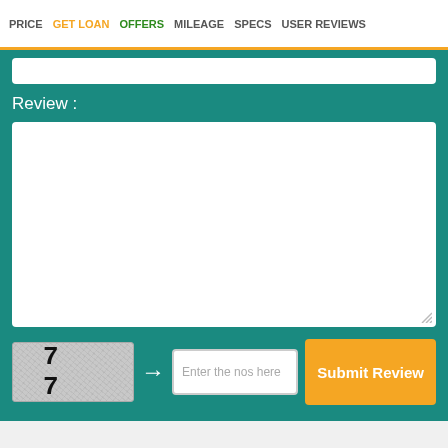PRICE  GET LOAN  OFFERS  MILEAGE  SPECS  USER REVIEWS
Review :
[Figure (screenshot): A web form with a Review label, text area, CAPTCHA showing '9 7 7 3', an arrow, an input field labeled 'Enter the nos here', and an orange 'Submit Review' button, all on a teal background.]
Trending New Cars!!!
[Figure (photo): A blue car (partial view showing roof and side) in a white framed box at the bottom of the page.]